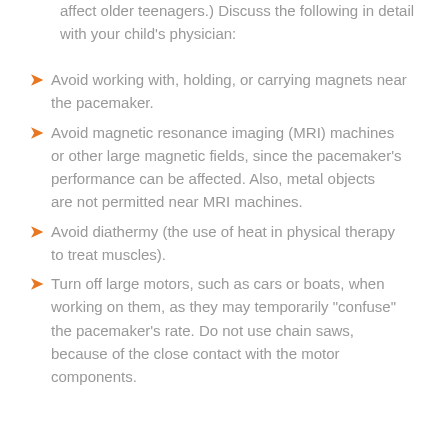affect older teenagers.) Discuss the following in detail with your child's physician:
Avoid working with, holding, or carrying magnets near the pacemaker.
Avoid magnetic resonance imaging (MRI) machines or other large magnetic fields, since the pacemaker's performance can be affected. Also, metal objects are not permitted near MRI machines.
Avoid diathermy (the use of heat in physical therapy to treat muscles).
Turn off large motors, such as cars or boats, when working on them, as they may temporarily "confuse" the pacemaker's rate. Do not use chain saws, because of the close contact with the motor components.